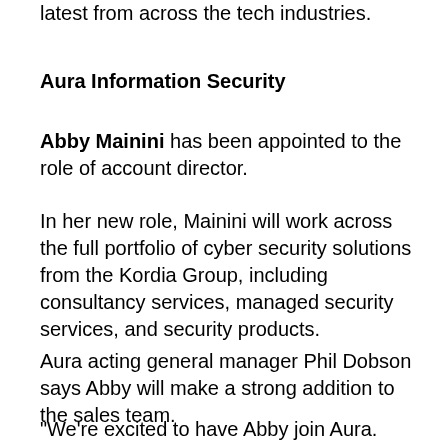latest from across the tech industries.
Aura Information Security
Abby Mainini has been appointed to the role of account director.
In her new role, Mainini will work across the full portfolio of cyber security solutions from the Kordia Group, including consultancy services, managed security services, and security products.
Aura acting general manager Phil Dobson says Abby will make a strong addition to the sales team.
"We're excited to have Abby join Aura. She has an excellent track record of delivering exceptional business outcomes for clients, as well as a robust understanding of the threat landscape and the challenges facing organising when protecting their systems and data," Dobson says.